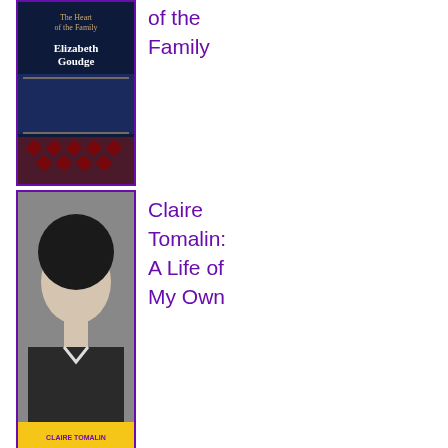[Figure (photo): Book cover: The Heart of the Family by Elizabeth Goudge, dark navy background with decorative pattern]
of the Family
[Figure (photo): Book cover: Claire Tomalin A Life of My Own, black and white portrait photo of a young woman, yellow bottom band with author name]
Claire Tomalin: A Life of My Own
[Figure (photo): Book cover: P.D. James Time to Be in Earnest, black background with author name in large white text, photo of P.D. James at bottom]
P.D. James: Time to Be in Earnest